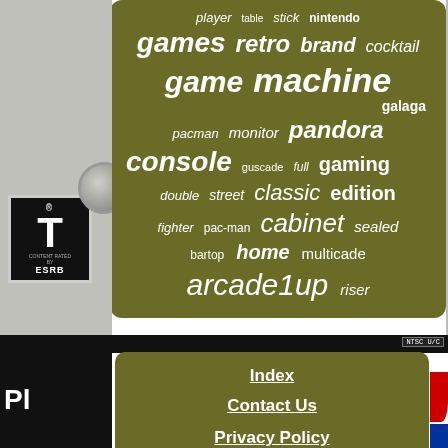[Figure (infographic): Tag cloud with gaming/arcade-related keywords on olive/dark yellow background. Words include: player, table, stick, nintendo, games, retro, brand, cocktail, game, machine, galaga, pacman, monitor, pandora, console, guscade, full, gaming, double, street, classic, edition, fighter, pac-man, cabinet, sealed, bartop, home, multicade, arcade1up, riser]
[Figure (infographic): Bottom panel on olive background with Index and Contact Us links]